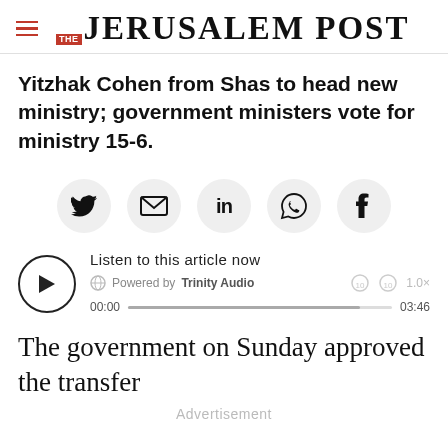THE JERUSALEM POST
Yitzhak Cohen from Shas to head new ministry; government ministers vote for ministry 15-6.
[Figure (infographic): Social share buttons: Twitter, Email, LinkedIn, WhatsApp, Facebook]
[Figure (infographic): Audio player: Listen to this article now, Powered by Trinity Audio, 00:00 / 03:46, 1.0x speed]
The government on Sunday approved the transfer
Advertisement